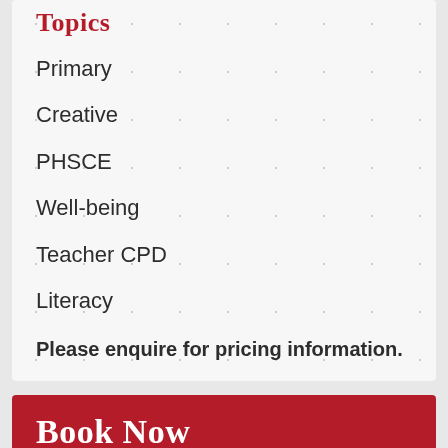Topics
Primary
Creative
PHSCE
Well-being
Teacher CPD
Literacy
Please enquire for pricing information.
Book Now
Name
Your Name